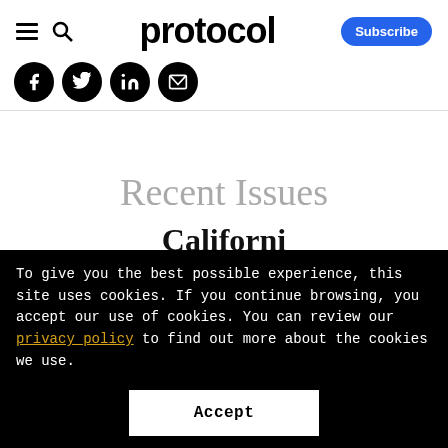protocol — Subscribe
[Figure (other): Social media share icons: Facebook, Twitter, LinkedIn, Email]
Recent Issues
To give you the best possible experience, this site uses cookies. If you continue browsing, you accept our use of cookies. You can review our privacy policy to find out more about the cookies we use.
Accept